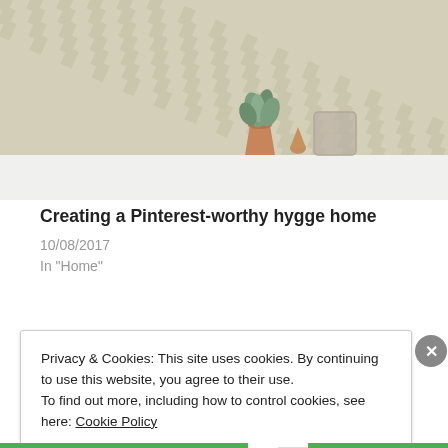[Figure (photo): A decorative interior photo showing a cream/beige textured wallpaper background with a copper/rose-gold plant pot holding greenery, a copper teardrop ornament, and a glass vase on a white shelf.]
Creating a Pinterest-worthy hygge home
10/08/2017
In "Home"
Privacy & Cookies: This site uses cookies. By continuing to use this website, you agree to their use.
To find out more, including how to control cookies, see here: Cookie Policy
Close and accept